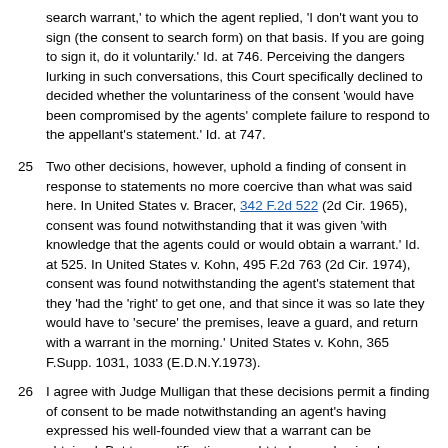search warrant,' to which the agent replied, 'I don't want you to sign (the consent to search form) on that basis. If you are going to sign it, do it voluntarily.' Id. at 746. Perceiving the dangers lurking in such conversations, this Court specifically declined to decided whether the voluntariness of the consent 'would have been compromised by the agents' complete failure to respond to the appellant's statement.' Id. at 747.
25  Two other decisions, however, uphold a finding of consent in response to statements no more coercive than what was said here. In United States v. Bracer, 342 F.2d 522 (2d Cir. 1965), consent was found notwithstanding that it was given 'with knowledge that the agents could or would obtain a warrant.' Id. at 525. In United States v. Kohn, 495 F.2d 763 (2d Cir. 1974), consent was found notwithstanding the agent's statement that they 'had the 'right' to get one, and that since it was so late they would have to 'secure' the premises, leave a guard, and return with a warrant in the morning.' United States v. Kohn, 365 F.Supp. 1031, 1033 (E.D.N.Y.1973).
26  I agree with Judge Mulligan that these decisions permit a finding of consent to be made notwithstanding an agent's having expressed his well-founded view that a warrant can be obtained. But two qualifications ought to be emphasized.